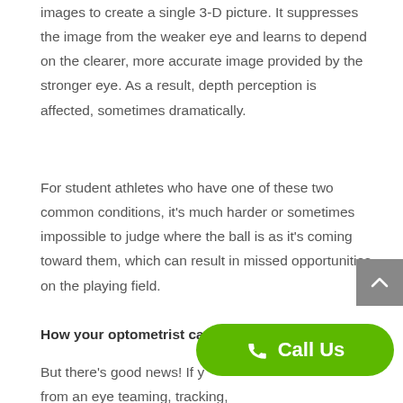images to create a single 3-D picture. It suppresses the image from the weaker eye and learns to depend on the clearer, more accurate image provided by the stronger eye. As a result, depth perception is affected, sometimes dramatically.
For student athletes who have one of these two common conditions, it's much harder or sometimes impossible to judge where the ball is as it's coming toward them, which can result in missed opportunities on the playing field.
How your optometrist can help
But there's good news! If y… from an eye teaming, tracking, focusing or